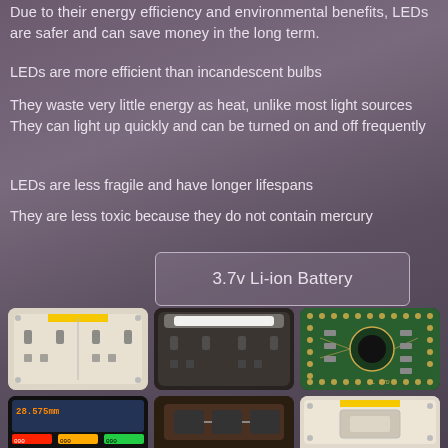Due to their energy efficiency and environmental benefits, LEDs are safer and can save money in the long term.
LEDs are more efficient than incandescent bulbs
They waste very little energy as heat, unlike most light sources They can light up quickly and can be turned on and off frequently
LEDs are less fragile and have longer lifespans
They are less toxic because they do not contain mercury
3.7v Li-ion Battery
[Figure (photo): UK electrical outlet/socket with yellow tab, white face, light background]
[Figure (photo): UK electrical outlet/socket illuminated with LED light, dark background]
[Figure (photo): Green PCB circuit board with components and solder points, labeled RL 27D]
[Figure (photo): Digital caliper/meter screen showing 28.575mm measurement]
[Figure (photo): Battery pack or electrical component, dark brownish]
[Figure (photo): White electrical switch plate with yellow tab]